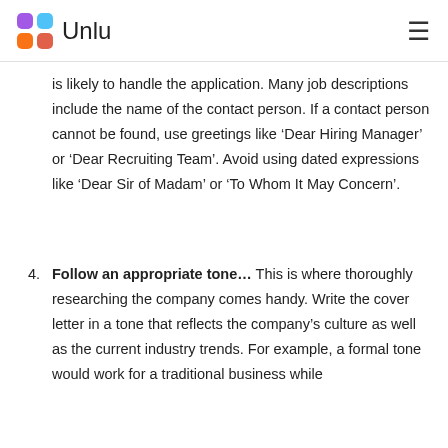Unlu (logo)
is likely to handle the application. Many job descriptions include the name of the contact person. If a contact person cannot be found, use greetings like ‘Dear Hiring Manager’ or ‘Dear Recruiting Team’. Avoid using dated expressions like ‘Dear Sir of Madam’ or ‘To Whom It May Concern’.
4. Follow an appropriate tone… This is where thoroughly researching the company comes handy. Write the cover letter in a tone that reflects the company’s culture as well as the current industry trends. For example, a formal tone would work for a traditional business while